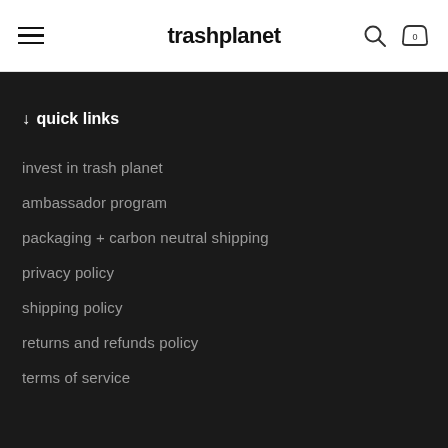trashplanet
↓ quick links
invest in trash planet
ambassador program
packaging + carbon neutral shipping
privacy policy
shipping policy
returns and refunds policy
terms of service